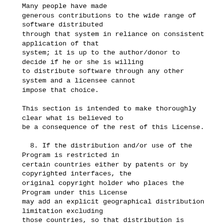Many people have made generous contributions to the wide range of software distributed through that system in reliance on consistent application of that system; it is up to the author/donor to decide if he or she is willing to distribute software through any other system and a licensee cannot impose that choice.
This section is intended to make thoroughly clear what is believed to be a consequence of the rest of this License.
8. If the distribution and/or use of the Program is restricted in certain countries either by patents or by copyrighted interfaces, the original copyright holder who places the Program under this License may add an explicit geographical distribution limitation excluding those countries, so that distribution is permitted only in or among